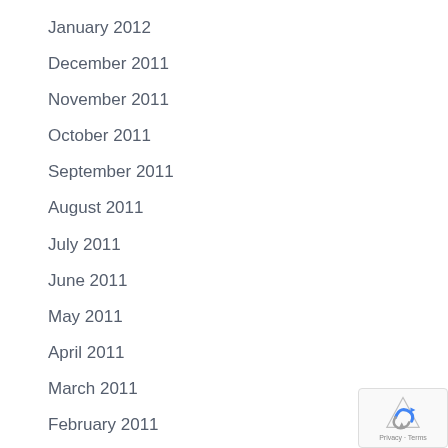January 2012
December 2011
November 2011
October 2011
September 2011
August 2011
July 2011
June 2011
May 2011
April 2011
March 2011
February 2011
January 2011
December 2010
November 2010